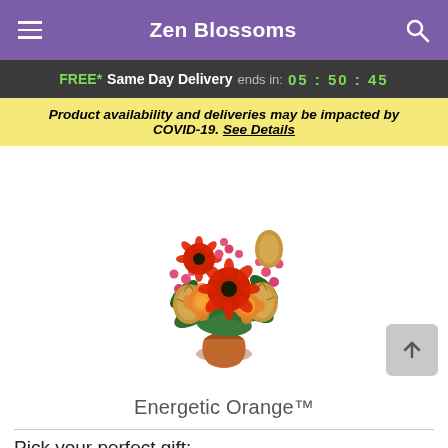Zen Blossoms
FREE* Same Day Delivery ends in: 05 : 50 : 45
Product availability and deliveries may be impacted by COVID-19. See Details
[Figure (photo): A floral bouquet arrangement called Energetic Orange featuring red gerbera daisies, orange roses, pink hypericum berries, and tan banksia flowers in a brown ceramic vase]
Energetic Orange™
Pick your perfect gift: